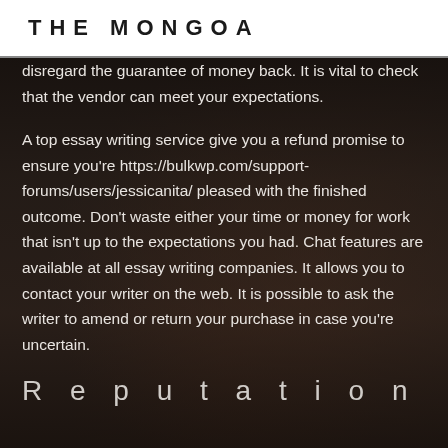THE MONGOA
disregard the guarantee of money back. It is vital to check that the vendor can meet your expectations.
A top essay writing service give you a refund promise to ensure you're https://bulkwp.com/support-forums/users/jessicanita/ pleased with the finished outcome. Don't waste either your time or money for work that isn't up to the expectations you had. Chat features are available at all essay writing companies. It allows you to contact your writer on the web. It is possible to ask the writer to amend or return your purchase in case you're uncertain.
Reputation